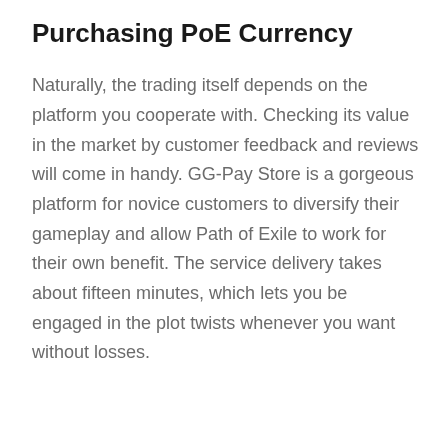Purchasing PoE Currency
Naturally, the trading itself depends on the platform you cooperate with. Checking its value in the market by customer feedback and reviews will come in handy. GG-Pay Store is a gorgeous platform for novice customers to diversify their gameplay and allow Path of Exile to work for their own benefit. The service delivery takes about fifteen minutes, which lets you be engaged in the plot twists whenever you want without losses.